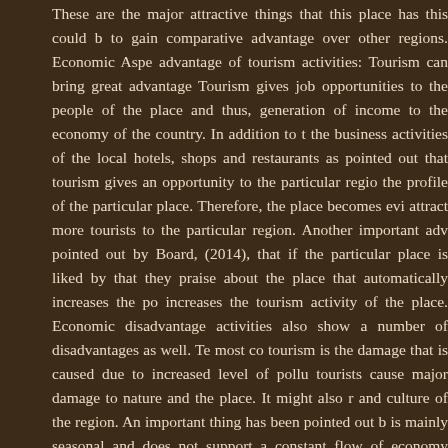These are the major attractive things that this place has this could be to gain comparative advantage over other regions. Economic Aspects advantage of tourism activities: Tourism can bring great advantage to Tourism gives job opportunities to the people of the place and thus, generation of income to the economy of the country. In addition to the the business activities of the local hotels, shops and restaurants as w pointed out that tourism gives an opportunity to the particular region the profile of the particular place. Therefore, the place becomes evid attract more tourists to the particular region. Another important adva pointed out by Board, (2014), that if the particular place is liked by th that they praise about the place that automatically increases the pop increases the tourism activity of the place. Economic disadvantage o activities also show a number of disadvantages as well. Te most con tourism is the damage that is caused due to increased level of pollut tourists cause major damage to nature and the place. It might also re and culture of the region. An important thing has been pointed out by is mainly seasonal and does not support a constant flow of economy. Sometimes, the money earned from the tourism activities is ultimate situation for more tourists. Thus, there does not remain any kind of b the benefits of the country or the region (Warnick, Bojanic Cartier, 20 restaurants that are owned by foreign companies when benefitted do advantage to the economy of the demand the country. Multiplier effect theory: Ac theory with the injection of new demand in the circular flow of e